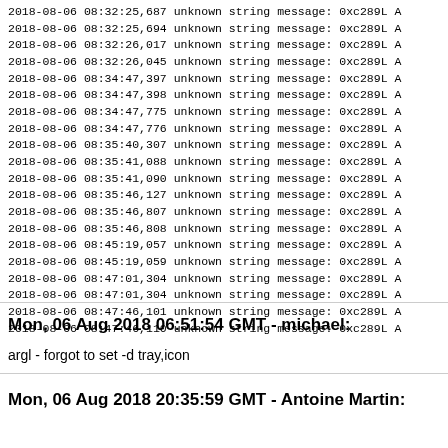2018-08-06 08:32:25,687 unknown string message: 0xc289L A
2018-08-06 08:32:25,694 unknown string message: 0xc289L A
2018-08-06 08:32:26,017 unknown string message: 0xc289L A
2018-08-06 08:32:26,045 unknown string message: 0xc289L A
2018-08-06 08:34:47,397 unknown string message: 0xc289L A
2018-08-06 08:34:47,398 unknown string message: 0xc289L A
2018-08-06 08:34:47,775 unknown string message: 0xc289L A
2018-08-06 08:34:47,776 unknown string message: 0xc289L A
2018-08-06 08:35:40,307 unknown string message: 0xc289L A
2018-08-06 08:35:41,088 unknown string message: 0xc289L A
2018-08-06 08:35:41,090 unknown string message: 0xc289L A
2018-08-06 08:35:46,127 unknown string message: 0xc289L A
2018-08-06 08:35:46,807 unknown string message: 0xc289L A
2018-08-06 08:35:46,808 unknown string message: 0xc289L A
2018-08-06 08:45:19,057 unknown string message: 0xc289L A
2018-08-06 08:45:19,059 unknown string message: 0xc289L A
2018-08-06 08:47:01,304 unknown string message: 0xc289L A
2018-08-06 08:47:01,304 unknown string message: 0xc289L A
2018-08-06 08:47:46,101 unknown string message: 0xc289L A
2018-08-06 08:47:46,110 unknown string message: 0xc289L A
Mon, 06 Aug 2018 06:51:54 GMT - michael:
argl - forgot to set -d tray,icon
Mon, 06 Aug 2018 20:35:59 GMT - Antoine Martin: